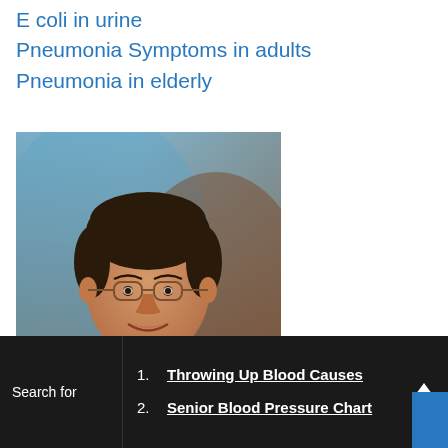E coli in urine
Pneumonia Symptoms in adults
Pneumonia in elderly
[Figure (photo): Professional headshot of a male doctor wearing a white coat, red striped tie, glasses, and a stethoscope around his neck, smiling, against a blurred blue-brown background]
1. Throwing Up Blood Causes
2. Senior Blood Pressure Chart
Search for